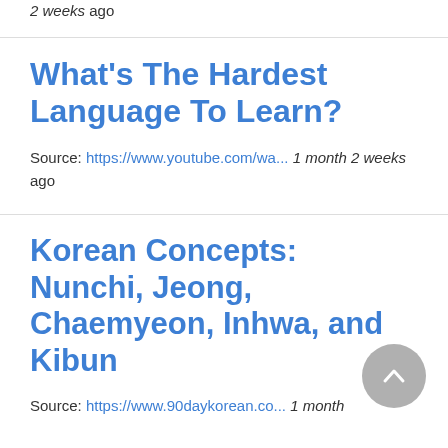2 weeks ago
What's The Hardest Language To Learn?
Source: https://www.youtube.com/wa... 1 month 2 weeks ago
Korean Concepts: Nunchi, Jeong, Chaemyeon, Inhwa, and Kibun
Source: https://www.90daykorean.co... 1 month